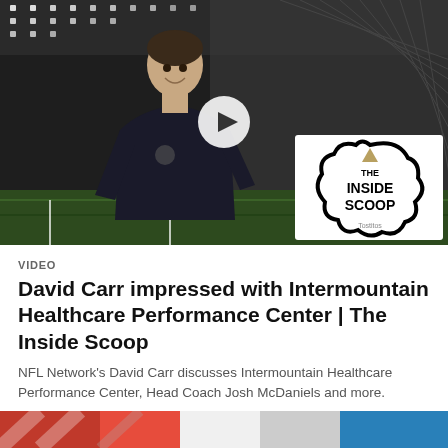[Figure (screenshot): Video thumbnail showing a man in a black polo shirt standing inside an indoor football facility (Intermountain Healthcare Performance Center). A white play button circle is overlaid in the center. The 'The Inside Scoop / Tostitos' logo badge is in the bottom-right corner of the thumbnail.]
VIDEO
David Carr impressed with Intermountain Healthcare Performance Center | The Inside Scoop
NFL Network's David Carr discusses Intermountain Healthcare Performance Center, Head Coach Josh McDaniels and more.
[Figure (photo): Bottom strip showing partial image with red, white, and blue colors — likely a partial Raiders or NFL logo/image.]